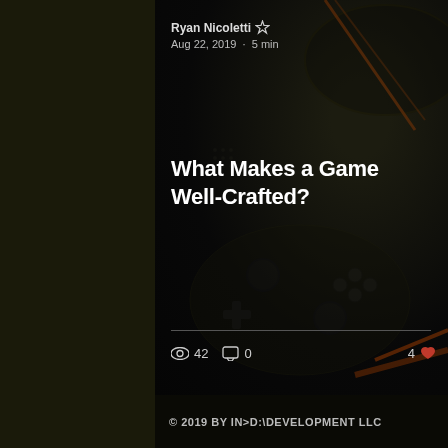[Figure (photo): Dark gaming controller/gamepad article card with author info, title, stats, and footer]
Ryan Nicoletti ★
Aug 22, 2019 · 5 min
What Makes a Game Well-Crafted?
👁 42   💬 0   4 ♥
© 2019 BY IN>D:\DEVELOPMENT LLC